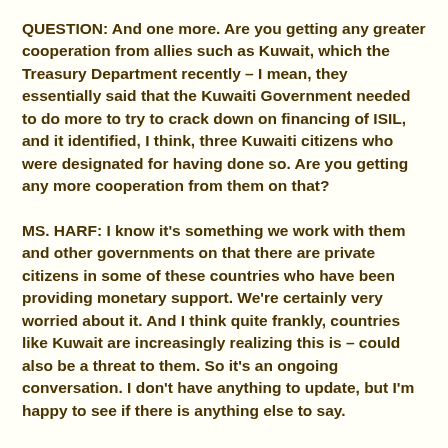QUESTION: And one more. Are you getting any greater cooperation from allies such as Kuwait, which the Treasury Department recently – I mean, they essentially said that the Kuwaiti Government needed to do more to try to crack down on financing of ISIL, and it identified, I think, three Kuwaiti citizens who were designated for having done so. Are you getting any more cooperation from them on that?
MS. HARF: I know it's something we work with them and other governments on that there are private citizens in some of these countries who have been providing monetary support. We're certainly very worried about it. And I think quite frankly, countries like Kuwait are increasingly realizing this is – could also be a threat to them. So it's an ongoing conversation. I don't have anything to update, but I'm happy to see if there is anything else to say.